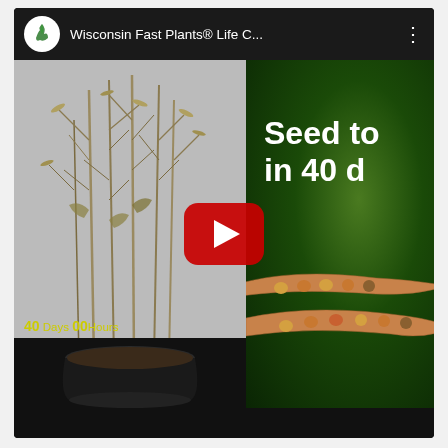[Figure (screenshot): YouTube video thumbnail showing Wisconsin Fast Plants® Life Cycle video. Left half shows dried fast plants in a pot at 40 days, right half shows dark green background with text 'Seed to [seed] in 40 d[ays]' and seed pod illustrations. Red YouTube play button in center. Top bar shows channel logo and title 'Wisconsin Fast Plants® Life C...' with three-dot menu.]